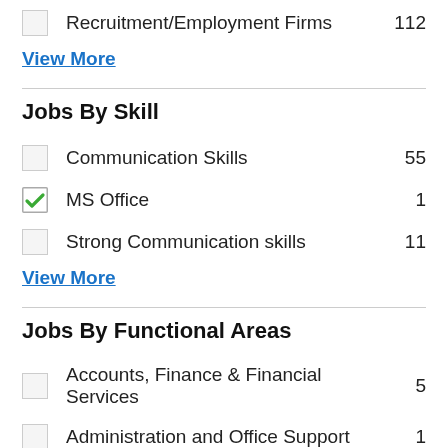Recruitment/Employment Firms  112
View More
Jobs By Skill
Communication Skills  55
MS Office  1
Strong Communication skills  11
View More
Jobs By Functional Areas
Accounts, Finance & Financial Services  5
Administration and Office Support  1